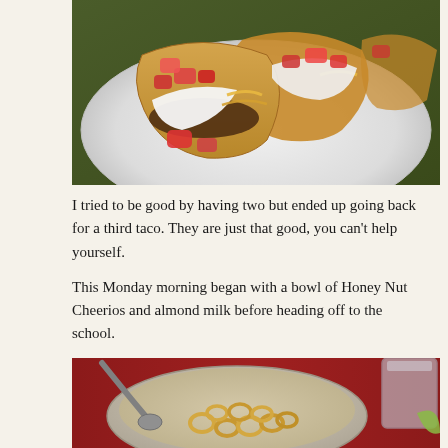[Figure (photo): Photo of two hard shell tacos on a white plate with toppings including diced tomatoes, sour cream, shredded cheese, and meat filling, on a green mat background.]
I tried to be good by having two but ended up going back for a third taco. They are just that good, you can't help yourself.
This Monday morning began with a bowl of Honey Nut Cheerios and almond milk before heading off to the school.
[Figure (photo): Photo of a bowl of Honey Nut Cheerios cereal on a dark red/maroon placemat, with a glass of water and lime wedge visible in the background.]